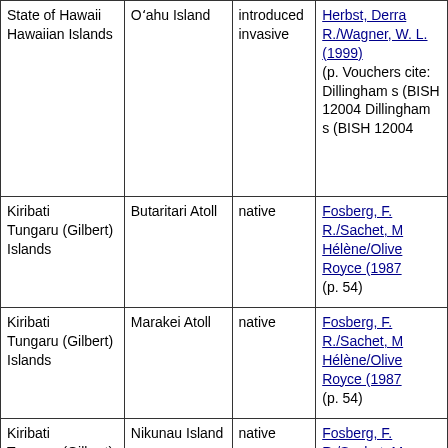| State of Hawaii
Hawaiian Islands | Oʻahu Island | introduced invasive | Herbst, Derra R./Wagner, W. L. (1999) (p. Vouchers cited: Dillingham s (BISH 12004 Dillingham s (BISH 12004 |
| Kiribati
Tungaru (Gilbert) Islands | Butaritari Atoll | native | Fosberg, F. R./Sachet, M Hélène/Olive Royce (1987 (p. 54) |
| Kiribati
Tungaru (Gilbert) Islands | Marakei Atoll | native | Fosberg, F. R./Sachet, M Hélène/Olive Royce (1987 (p. 54) |
| Kiribati
Tungaru (Gilbert) Islands | Nikunau Island | native | Fosberg, F. R./Sachet, M Hélène/Olive Royce (1987 (p. 54) |
| Kiribati ... | Tamana Island... | native | Fosberg, F... |